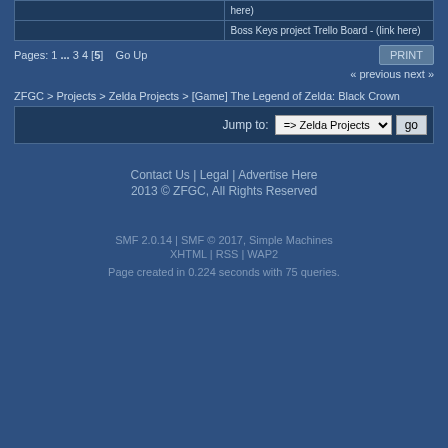|  |  |
| --- | --- |
|  | here) |
|  | Boss Keys project Trello Board - (link here) |
Pages: 1 ... 3 4 [5]   Go Up
« previous next »
ZFGC > Projects > Zelda Projects > [Game] The Legend of Zelda: Black Crown
Jump to:  => Zelda Projects  go
Contact Us | Legal | Advertise Here
2013 © ZFGC, All Rights Reserved
SMF 2.0.14 | SMF © 2017, Simple Machines
XHTML | RSS | WAP2
Page created in 0.224 seconds with 75 queries.